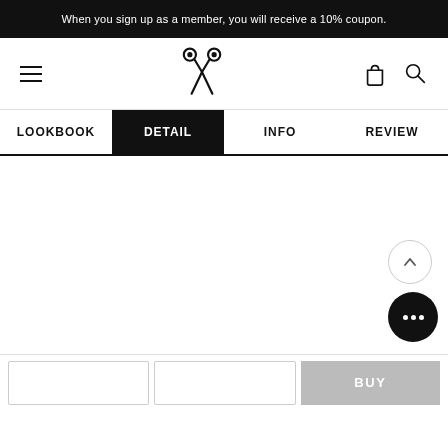When you sign up as a member, you will receive a 10% coupon.
[Figure (logo): Scissors logo icon in the center of the navigation header]
LOOKBOOK  DETAIL  INFO  REVIEW
[Figure (screenshot): Empty white content area for the DETAIL tab]
BUY